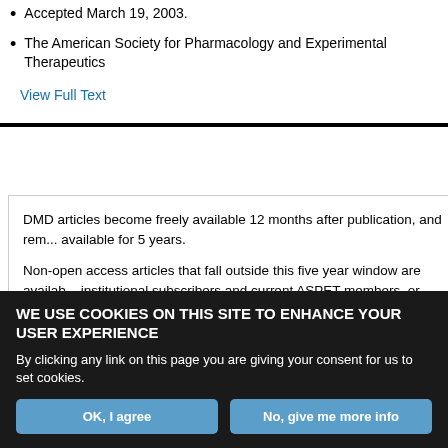Accepted March 19, 2003.
The American Society for Pharmacology and Experimental Therapeutics
View Full Text
DMD articles become freely available 12 months after publication, and remain available for 5 years.

Non-open access articles that fall outside this five year window are available to institutional subscribers and current ASPET members, or through th
WE USE COOKIES ON THIS SITE TO ENHANCE YOUR USER EXPERIENCE

By clicking any link on this page you are giving your consent for us to set cookies.